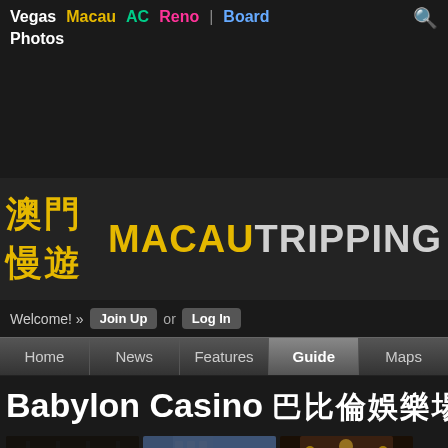Vegas  Macau  AC  Reno  |  Board  Photos
[Figure (screenshot): MacauTripping website logo: Chinese characters 澳門慢遊 in yellow followed by MACAU in yellow bold and TRIPPING in light gray bold]
Welcome! » Join Up or Log In
Home  News  Features  Guide  Maps
Babylon Casino 巴比倫娛樂場
[Figure (photo): Three thumbnail photos of Babylon Casino exterior and interior views]